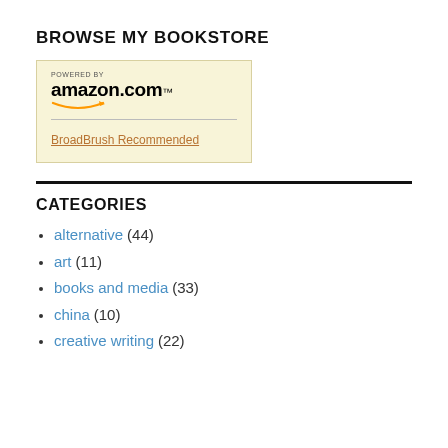BROWSE MY BOOKSTORE
[Figure (logo): Amazon.com bookstore widget with 'Powered By' text, Amazon logo with smile graphic, a horizontal divider, and a link reading 'BroadBrush Recommended']
CATEGORIES
alternative (44)
art (11)
books and media (33)
china (10)
creative writing (22)